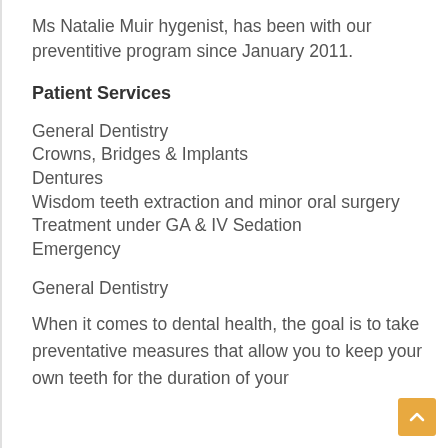Ms Natalie Muir hygenist, has been with our preventitive program since January 2011.
Patient Services
General Dentistry
Crowns, Bridges & Implants
Dentures
Wisdom teeth extraction and minor oral surgery
Treatment under GA & IV Sedation
Emergency
General Dentistry
When it comes to dental health, the goal is to take preventative measures that allow you to keep your own teeth for the duration of your